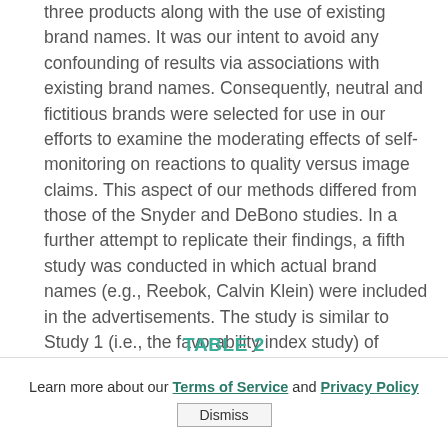three products along with the use of existing brand names. It was our intent to avoid any confounding of results via associations with existing brand names. Consequently, neutral and fictitious brands were selected for use in our efforts to examine the moderating effects of self-monitoring on reactions to quality versus image claims. This aspect of our methods differed from those of the Snyder and DeBono studies. In a further attempt to replicate their findings, a fifth study was conducted in which actual brand names (e.g., Reebok, Calvin Klein) were included in the advertisements. The study is similar to Study 1 (i.e., the favorability index study) of Phase I.
TABLE 2
PHASE II AND PHASE III RESULTS
Learn more about our Terms of Service and Privacy Policy